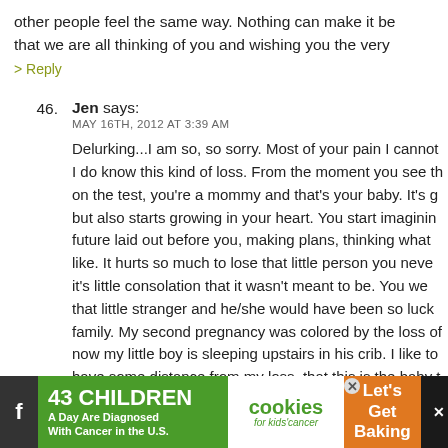other people feel the same way. Nothing can make it be that we are all thinking of you and wishing you the very
> Reply
46. Jen says:
MAY 16TH, 2012 AT 3:39 AM
Delurking...I am so, so sorry. Most of your pain I cannot I do know this kind of loss. From the moment you see th on the test, you're a mommy and that's your baby. It's g but also starts growing in your heart. You start imaginin future laid out before you, making plans, thinking what like. It hurts so much to lose that little person you neve it's little consolation that it wasn't meant to be. You we that little stranger and he/she would have been so luck family. My second pregnancy was colored by the loss of now my little boy is sleeping upstairs in his crib. I like to have some distance from my loss, that this is the baby t me. I will send positive energy your way and hope you'l
[Figure (infographic): Advertisement banner: '43 CHILDREN A Day Are Diagnosed With Cancer in the U.S.' with cookies for kids cancer logo and 'Let's Get Baking' orange section, plus social media icons]